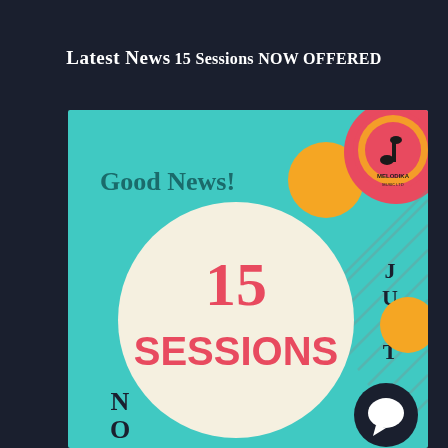Latest News
15 Sessions NOW OFFERED
[Figure (illustration): A colorful promotional graphic on a teal/turquoise background. Text reads 'Good News!' in teal bold font top-left. A large cream/beige circle in the center contains '15 SESSIONS' in pink/red bold text. The word 'JUST' appears vertically on the right side. 'N O W' appears vertically bottom-left. An orange circle and a red circular badge with a music note and 'MELODIKA' text appear in the upper right. Diagonal stripe pattern in lower right area. A dark circle with a white speech bubble icon bottom-right.]